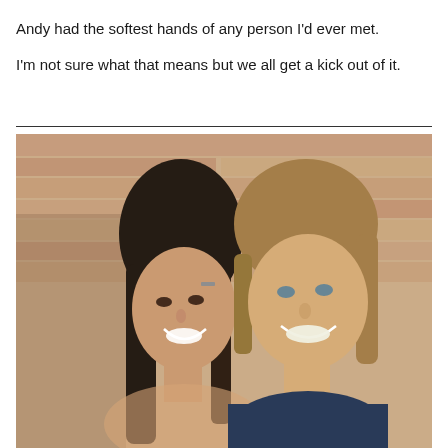Andy had the softest hands of any person I'd ever met.
I'm not sure what that means but we all get a kick out of it.
[Figure (photo): A smiling couple posing together in front of a red/tan brick stone wall. A woman with long dark hair is on the left wearing a small hair clip, and a man with medium-length brown hair is on the right wearing a dark blue shirt.]